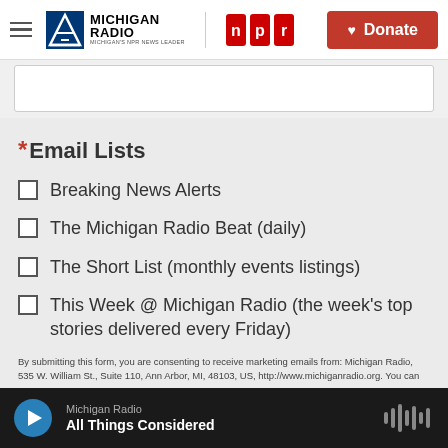Michigan Radio | NPR | Donate
* Email Lists
Breaking News Alerts
The Michigan Radio Beat (daily)
The Short List (monthly events listings)
This Week @ Michigan Radio (the week's top stories delivered every Friday)
By submitting this form, you are consenting to receive marketing emails from: Michigan Radio, 535 W. William St., Suite 110, Ann Arbor, MI, 48103, US, http://www.michiganradio.org. You can
Michigan Radio
All Things Considered